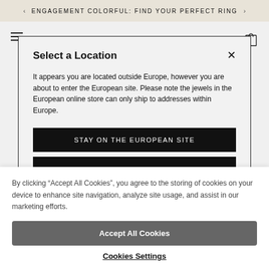ENGAGEMENT COLORFUL: FIND YOUR PERFECT RING
Select a Location
It appears you are located outside Europe, however you are about to enter the European site. Please note the jewels in the European online store can only ship to addresses within Europe.
STAY ON THE EUROPEAN SITE
By clicking “Accept All Cookies”, you agree to the storing of cookies on your device to enhance site navigation, analyze site usage, and assist in our marketing efforts.
Accept All Cookies
Cookies Settings